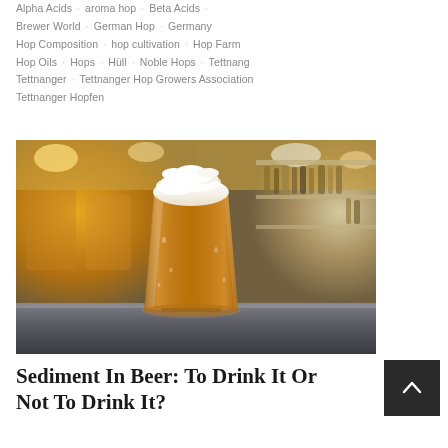Alpha Acids · aroma hop · Beta Acids · Brewer World · German Hop · Germany · Hop Composition · hop cultivation · Hop Farm · Hop Oils · Hops · Hüll · Noble Hops · Tettnang · Tettnanger · Tettnanger Hop Growers Association · Tettnanger Hopfen
[Figure (photo): A tall pint glass of golden amber beer with a thick white foam head sitting on a dark bar counter, with a warm, blurred bar background featuring yellow lights and shelves of bottles.]
Sediment In Beer: To Drink It Or Not To Drink It?